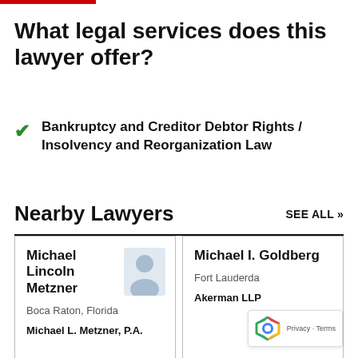What legal services does this lawyer offer?
Bankruptcy and Creditor Debtor Rights / Insolvency and Reorganization Law
Nearby Lawyers
| Name | Location | Firm |
| --- | --- | --- |
| Michael Lincoln Metzner | Boca Raton, Florida | Michael L. Metzner, P.A. |
| Michael I. Goldberg | Fort Lauderda[le] | Akerman LLP |